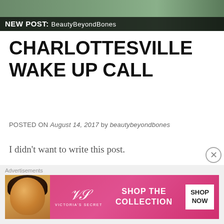[Figure (photo): Top banner image showing a blog header with 'New Post: BeautyBeyondBones' label over a dark overlay, with a green/outdoor background]
CHARLOTTESVILLE WAKE UP CALL
POSTED ON August 14, 2017 by beautybeyondbones
I didn't want to write this post.
A topic of this magnitude, and the tragedy that befell our nation on Saturday was something that I cannot find the adequate words to describe.
[Figure (screenshot): Victoria's Secret advertisement banner: pink gradient background with model face on left, VS logo, 'SHOP THE COLLECTION' text, and white 'SHOP NOW' button]